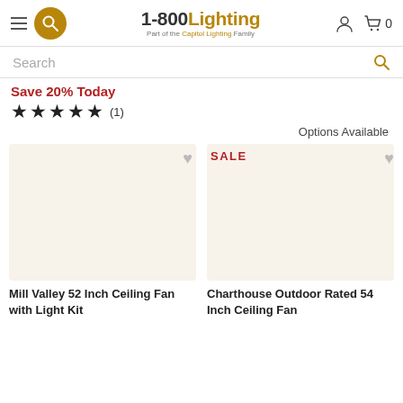1-800Lighting - Part of the Capitol Lighting Family
Search
Save 20% Today
★★★★★ (1)
Options Available
SALE
[Figure (photo): Product image area for Mill Valley 52 Inch Ceiling Fan with Light Kit]
[Figure (photo): Product image area for Charthouse Outdoor Rated 54 Inch Ceiling Fan]
Mill Valley 52 Inch Ceiling Fan with Light Kit
Charthouse Outdoor Rated 54 Inch Ceiling Fan